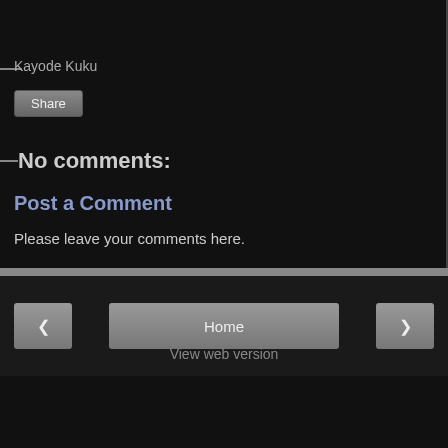Kayode Kuku
Share
No comments:
Post a Comment
Please leave your comments here.
< Home > View web version